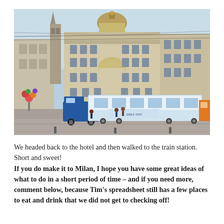[Figure (photo): A grand classical European building (likely in Milan, Italy) with a dome at top, ornate facade, and a blue-and-white tram passing in front. A blue van is also visible. The scene is a busy city piazza with overhead tram wires.]
We headed back to the hotel and then walked to the train station. Short and sweet!
If you do make it to Milan, I hope you have some great ideas of what to do in a short period of time – and if you need more, comment below, because Tim's spreadsheet still has a few places to eat and drink that we did not get to checking off!